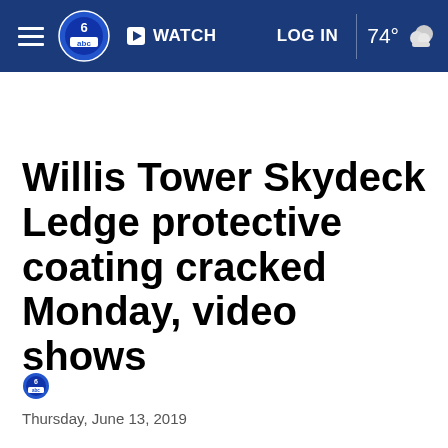WATCH   LOG IN   74°
Willis Tower Skydeck Ledge protective coating cracked Monday, video shows
Thursday, June 13, 2019